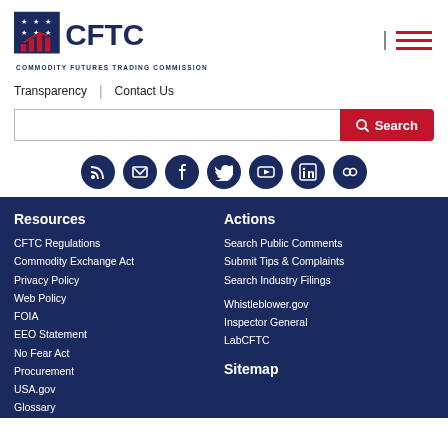[Figure (logo): CFTC logo with stars and bar chart icon, text reads CFTC and Commodity Futures Trading Commission]
[Figure (illustration): Hamburger menu icon with red lines and vertical separator]
Transparency | Contact Us
Search [input] Search [button]
[Figure (illustration): Row of social media icons: RSS, Email, Facebook, Twitter, YouTube, LinkedIn, Flickr]
Resources
CFTC Regulations
Commodity Exchange Act
Privacy Policy
Web Policy
FOIA
EEO Statement
No Fear Act
Procurement
USA.gov
Glossary
Actions
Search Public Comments
Submit Tips & Complaints
Search Industry Filings
Whistleblower.gov
Inspector General
LabCFTC
Sitemap